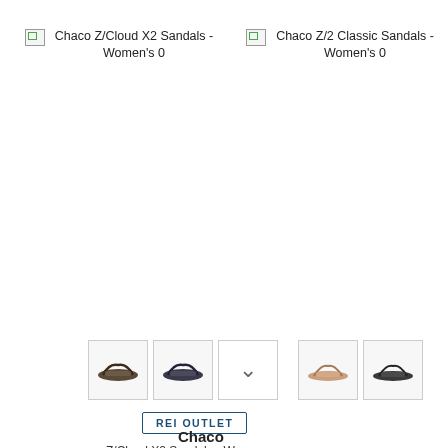[Figure (screenshot): Broken image placeholder for Chaco Z/Cloud X2 Sandals - Women's 0]
Chaco Z/Cloud X2 Sandals - Women's 0
[Figure (screenshot): Broken image placeholder for Chaco Z/2 Classic Sandals - Women's 0]
Chaco Z/2 Classic Sandals - Women's 0
[Figure (photo): Thumbnail of dark sandal (Chaco Z/Cloud X2) variant 1]
[Figure (photo): Thumbnail of dark sandal (Chaco Z/Cloud X2) variant 2]
[Figure (other): Chevron down button for more color options]
[Figure (photo): Thumbnail of pink/tan sandal (Chaco Z/2 Classic) variant 1]
[Figure (photo): Thumbnail of dark sandal (Chaco Z/2 Classic) variant 2]
REI OUTLET
Chaco
Chaco
Z/Cloud X2 Sandals - Wom...
Z/2 Classic Sandals - Wom...